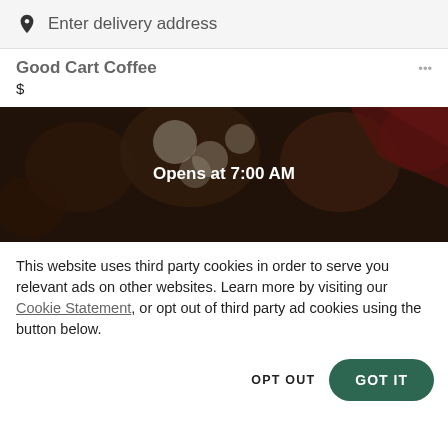Enter delivery address
Good Cart Coffee
$
[Figure (photo): Dark food/coffee shop hero image with overlay text 'Opens at 7:00 AM']
This website uses third party cookies in order to serve you relevant ads on other websites. Learn more by visiting our Cookie Statement, or opt out of third party ad cookies using the button below.
OPT OUT
GOT IT